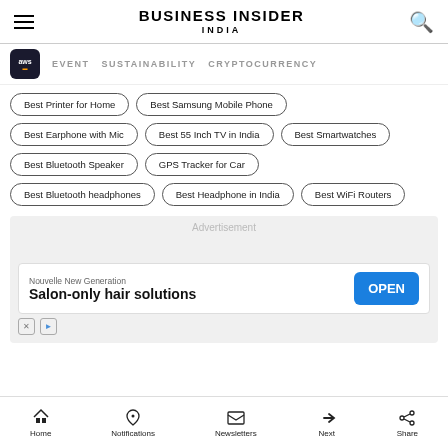BUSINESS INSIDER INDIA
EVENT | SUSTAINABILITY | CRYPTOCURRENCY
Best Printer for Home
Best Samsung Mobile Phone
Best Earphone with Mic
Best 55 Inch TV in India
Best Smartwatches
Best Bluetooth Speaker
GPS Tracker for Car
Best Bluetooth headphones
Best Headphone in India
Best WiFi Routers
Advertisement
Nouvelle New Generation
Salon-only hair solutions
Home | Notifications | Newsletters | Next | Share